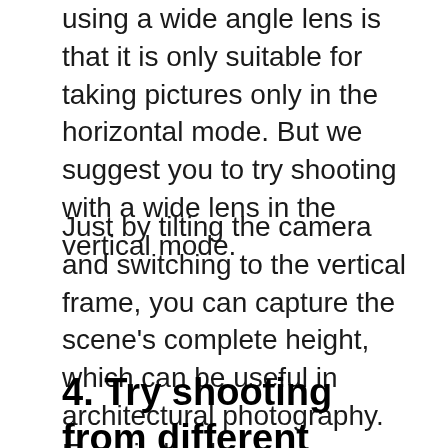using a wide angle lens is that it is only suitable for taking pictures only in the horizontal mode. But we suggest you to try shooting with a wide lens in the vertical mode.
Just by tilting the camera and switching to the vertical frame, you can capture the scene's complete height, which can be useful in architectural photography. Even in landscape photography, a standing frame can be used to capture the sky that always adds many beautiful features to your photo.
4. Try shooting from different heights and